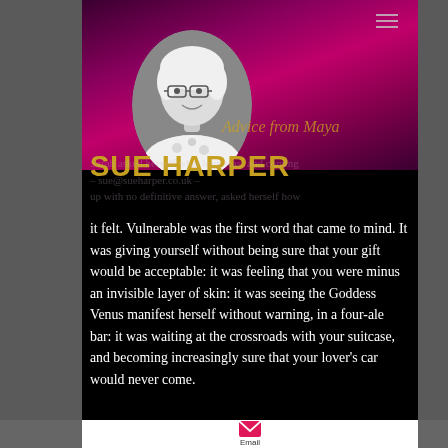[Figure (photo): Screenshot of a mobile website for Sue Harper, life coach. Shows a portrait photo of a woman with white/blonde hair and glasses, overlaid on a dark purple/pink hero image. The name 'SUE HARPER' appears in large gold bold text. Ghost text reads 'Advice from Maya' and excerpt text about Sarah asking herself about love. Body text is white on black background. An email icon appears at the bottom.]
SUE HARPER
Advice from Maya
Sarah asked herself what love was: and coming – sue@sueharper.co.uk – up with no definitive answer, asked herself how it felt. Vulnerable was the first word that came to mind. It was giving yourself without being sure that your gift would be acceptable: it was feeling that you were minus an invisible layer of skin: it was seeing the Goddess Venus manifest herself without warning, in a four-ale bar: it was waiting at the crossroads with your suitcase, and becoming increasingly sure that your lover's car would never come.
Email